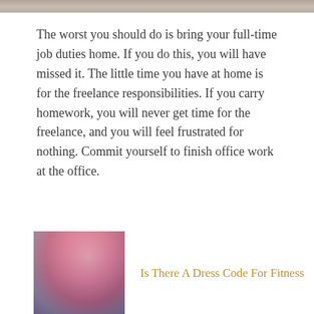[Figure (photo): Top image bar / partial photo at top of page]
The worst you should do is bring your full-time job duties home. If you do this, you will have missed it. The little time you have at home is for the freelance responsibilities. If you carry homework, you will never get time for the freelance, and you will feel frustrated for nothing. Commit yourself to finish office work at the office.
[Figure (photo): Thumbnail of a woman doing a fitness exercise (plank/push-up) in a gym]
Is There A Dress Code For Fitness
[Figure (photo): Thumbnail of food dishes arranged on a wooden surface, related to cooking with wine]
How to Cook with Wine